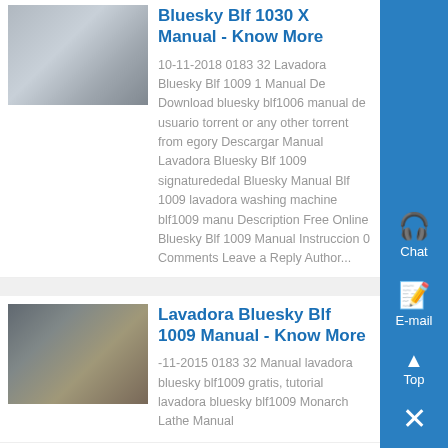[Figure (photo): Industrial machine with metal rails and components]
Bluesky Blf 1030 X Manual - Know More
10-11-2018 0183 32 Lavadora Bluesky Blf 1009 1 Manual De Download bluesky blf1006 manual de usuario torrent or any other torrent from egory Descargar Manual Lavadora Bluesky Blf 1009 signaturededal Bluesky Manual Blf 1009 lavadora washing machine blf1009 manu Description Free Online Bluesky Blf 1009 Manual Instruccion 0 Comments Leave a Reply Author...
[Figure (photo): Workers at an industrial site with camera equipment]
Lavadora Bluesky Blf 1009 Manual - Know More
-11-2015 0183 32 Manual lavadora bluesky blf1009 gratis, tutorial lavadora bluesky blf1009 Monarch Lathe Manual